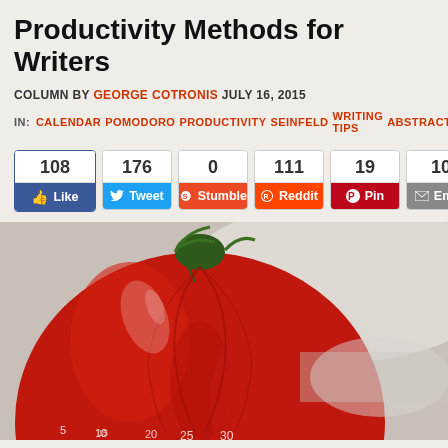Productivity Methods for Writers
COLUMN BY GEORGE COTRONIS JULY 16, 2015
IN: CALENDAR POMODORO PRODUCTIVITY SEINFELD WRITING TIPS ABSTRACTS
[Figure (infographic): Social sharing buttons with counts: Facebook Like 108, Tweet 176, Stumble 0, Reddit 111, Pin 19, Email 10]
[Figure (photo): Close-up photograph of a red tomato-shaped kitchen timer (Pomodoro timer) with green stem detail and white minute markings visible at the bottom]